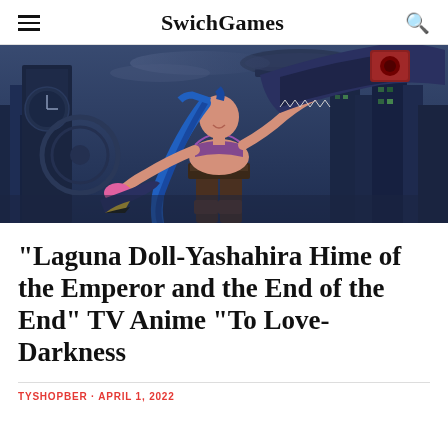SwichGames
[Figure (illustration): Digital illustration of a female character with long blue braided hair wielding a large shark-shaped cannon/gun, wearing a purple and pink outfit. Background shows a dark steampunk/futuristic city skyline with mechanical structures.]
“Laguna Doll-Yashahira Hime of the Emperor and the End of the End” TV Anime “To Love-Darkness
TYSHOPBER · APRIL 1, 2022